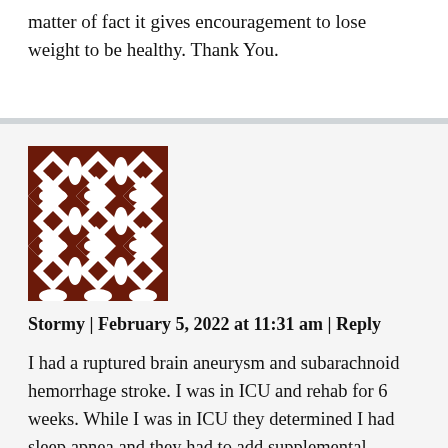matter of fact it gives encouragement to lose weight to be healthy. Thank You.
[Figure (illustration): Brown and white geometric/floral avatar image for user Stormy]
Stormy | February 5, 2022 at 11:31 am | Reply
I had a ruptured brain aneurysm and subarachnoid hemorrhage stroke. I was in ICU and rehab for 6 weeks. While I was in ICU they determined I had sleep apnea and they had to add supplemental oxygen. Not only did my brain blow a gasket, my entire body went to a place of its own. I had a seizure, fell off the porch and crushed my wrist. I have developed